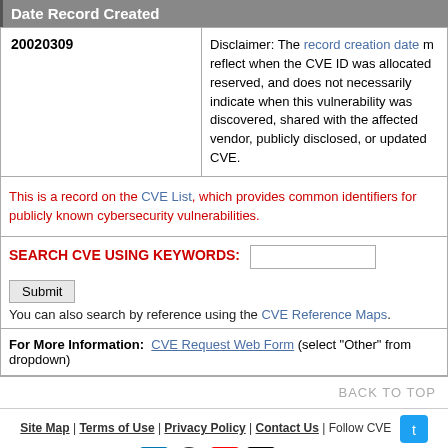Date Record Created
| Date | Disclaimer |
| --- | --- |
| 20020309 | Disclaimer: The record creation date may reflect when the CVE ID was allocated or reserved, and does not necessarily indicate when this vulnerability was discovered, shared with the affected vendor, publicly disclosed, or updated in CVE. |
This is a record on the CVE List, which provides common identifiers for publicly known cybersecurity vulnerabilities.
SEARCH CVE USING KEYWORDS: [input] Submit
You can also search by reference using the CVE Reference Maps.
For More Information: CVE Request Web Form (select "Other" from dropdown)
BACK TO TOP
Site Map | Terms of Use | Privacy Policy | Contact Us | Follow CVE
Use of the CVE® List and the associated references from this website are subject to the terms of use. CVE is sponsored by the U.S. Department of Homeland